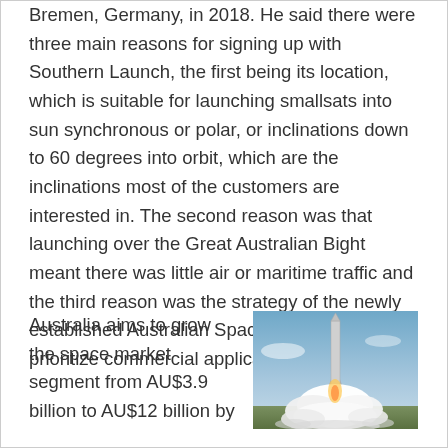Bremen, Germany, in 2018. He said there were three main reasons for signing up with Southern Launch, the first being its location, which is suitable for launching smallsats into sun synchronous or polar, or inclinations down to 60 degrees into orbit, which are the inclinations most of the customers are interested in. The second reason was that launching over the Great Australian Bight meant there was little air or maritime traffic and the third reason was the strategy of the newly established Australian Space Agency to prioritize commercial applications.
Australia aims to grow the space market segment from AU$3.9 billion to AU$12 billion by
[Figure (photo): A rocket launching with large plumes of white smoke/exhaust at the base, against a blue sky background.]